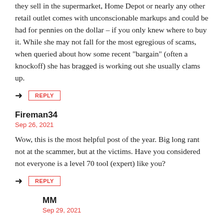they sell in the supermarket, Home Depot or nearly any other retail outlet comes with unconscionable markups and could be had for pennies on the dollar – if you only knew where to buy it. While she may not fall for the most egregious of scams, when queried about how some recent "bargain" (often a knockoff) she has bragged is working out she usually clams up.
REPLY
Fireman34
Sep 26, 2021
Wow, this is the most helpful post of the year. Big long rant not at the scammer, but at the victims. Have you considered not everyone is a level 70 tool (expert) like you?
REPLY
MM
Sep 29, 2021